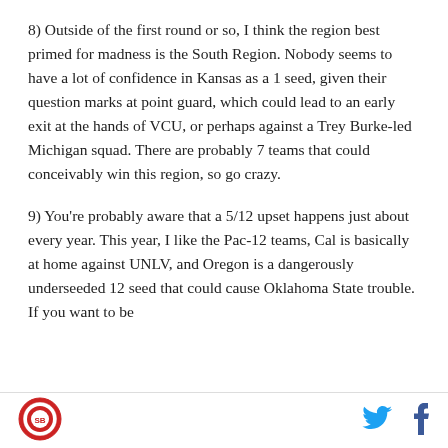8) Outside of the first round or so, I think the region best primed for madness is the South Region. Nobody seems to have a lot of confidence in Kansas as a 1 seed, given their question marks at point guard, which could lead to an early exit at the hands of VCU, or perhaps against a Trey Burke-led Michigan squad. There are probably 7 teams that could conceivably win this region, so go crazy.
9) You're probably aware that a 5/12 upset happens just about every year. This year, I like the Pac-12 teams, Cal is basically at home against UNLV, and Oregon is a dangerously underseeded 12 seed that could cause Oklahoma State trouble. If you want to be
[Figure (logo): Circular red and white logo in the footer]
[Figure (logo): Twitter bird icon in cyan]
[Figure (logo): Facebook f icon in dark blue]